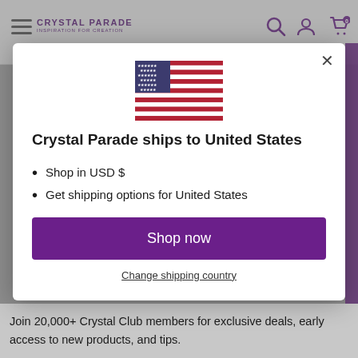CRYSTAL PARADE — Inspiration for Creation
[Figure (illustration): US flag SVG illustration centered in modal]
Crystal Parade ships to United States
Shop in USD $
Get shipping options for United States
Shop now
Change shipping country
Join 20,000+ Crystal Club members for exclusive deals, early access to new products, and tips.